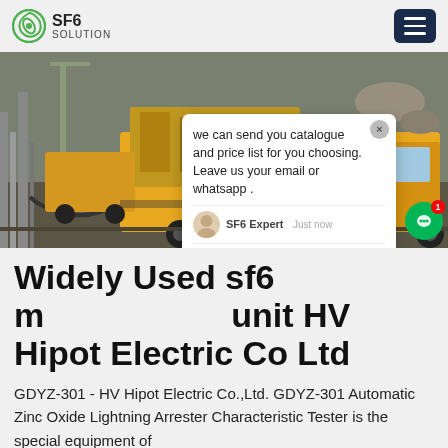SF6 SOLUTION
[Figure (photo): Industrial scene with yellow trucks and SF6 gas equipment at a power substation facility. A chat popup overlay is visible on the right side showing a message about sending a catalogue and price list, with an SF6 Expert avatar.]
Widely Used sf6 maintenance unit HV Hipot Electric Co Ltd
GDYZ-301 - HV Hipot Electric Co.,Ltd. GDYZ-301 Automatic Zinc Oxide Lightning Arrester Characteristic Tester is the special equipment of